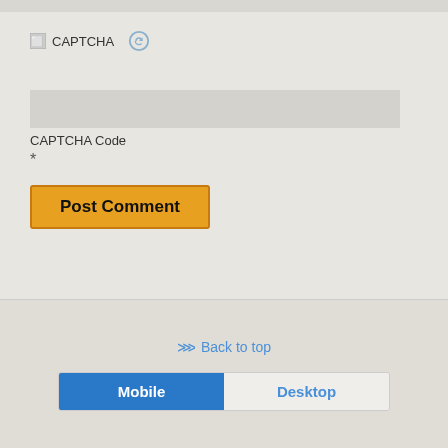[Figure (screenshot): CAPTCHA image placeholder with broken image icon and text 'CAPTCHA', with a circular refresh/reload icon next to it]
[Figure (screenshot): Text input field for CAPTCHA code entry, styled as a grey rectangle]
CAPTCHA Code
*
[Figure (screenshot): Orange 'Post Comment' button with dark border]
Back to top | Mobile | Desktop